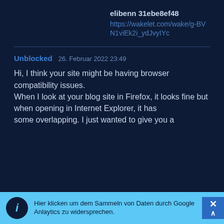elibenn 31ebe8ef48
https://wakelet.com/wake/g-BVN1viEk2i_ydJvyIYc
Unblocked   26. Februar 2022 23:49
Hi, I think your site might be having browser compatibility issues.
When I look at your blog site in Firefox, it looks fine but when opening in Internet Explorer, it has
some overlapping. I just wanted to give you a quick heads up!
Other then that, wonderful blog!
Hier klicken um dem Sammeln von Daten durch Google Anlaytics zu widersprechen.